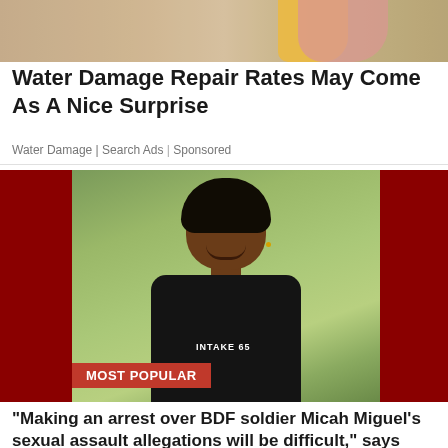[Figure (photo): Cropped top portion of an advertisement image showing a person in a yellow sleeve and pink top, blurred/cut off at the top of the page]
Water Damage Repair Rates May Come As A Nice Surprise
Water Damage | Search Ads | Sponsored
[Figure (photo): News thumbnail image of a woman in a black military t-shirt reading 'INTAKE 65' with dark red panels on either side, labeled 'MOST POPULAR']
"Making an arrest over BDF soldier Micah Miguel's sexual assault allegations will be difficult," says Police